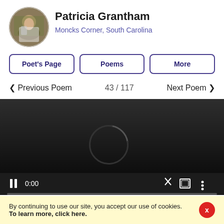[Figure (photo): Circular profile photo of Patricia Grantham]
Patricia Grantham
Moncks Corner, South Carolina
Poet's Page
Poems
More
< Previous Poem   43 / 117   Next Poem >
[Figure (screenshot): Video player with dark background, loading spinner arc, pause button, time 0:00, mute icon, fullscreen icon, more options icon, and progress bar]
Autoplay
By continuing to use our site, you accept our use of cookies. To learn more, click here.